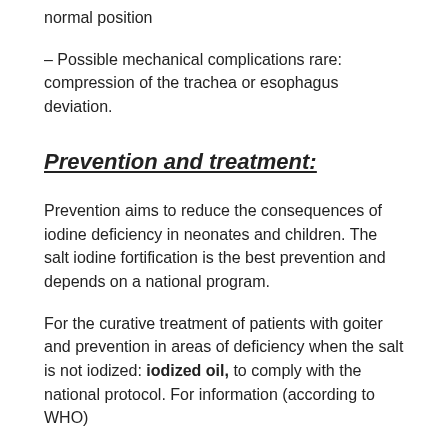normal position
– Possible mechanical complications rare: compression of the trachea or esophagus deviation.
Prevention and treatment:
Prevention aims to reduce the consequences of iodine deficiency in neonates and children. The salt iodine fortification is the best prevention and depends on a national program.
For the curative treatment of patients with goiter and prevention in areas of deficiency when the salt is not iodized: iodized oil, to comply with the national protocol. For information (according to WHO)